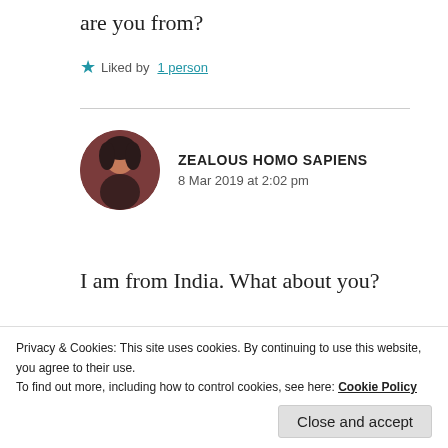are you from?
★ Liked by 1 person
ZEALOUS HOMO SAPIENS
8 Mar 2019 at 2:02 pm
I am from India. What about you?
★ Liked by 1 person
Privacy & Cookies: This site uses cookies. By continuing to use this website, you agree to their use.
To find out more, including how to control cookies, see here: Cookie Policy
Close and accept
8 Mar 2019 at 10:35 pm